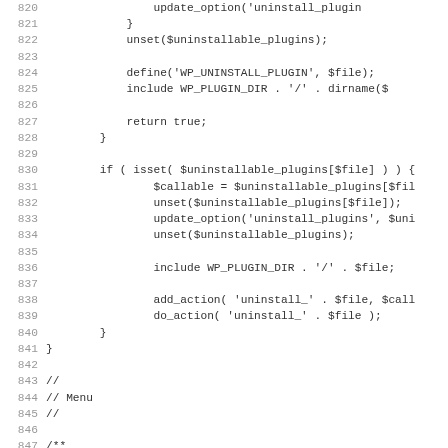Source code listing lines 820-851 showing PHP WordPress plugin uninstall logic and menu section comment block.